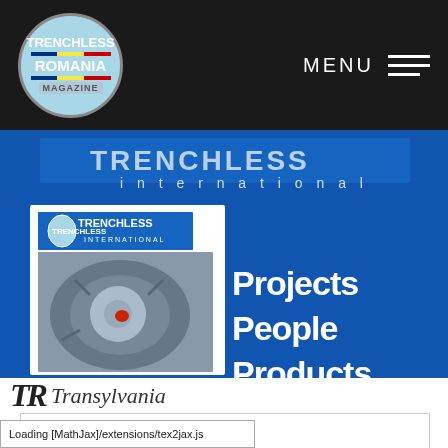[Figure (logo): Trenchless Romania Magazine logo - circular badge with light blue background, white text reading TRENCHLESS ROMANIA with Romanian flag stripe, and MAGAZINE text below]
MENU
[Figure (photo): Trenchless International magazine promotional banner on blue background showing Trenchless International logo, a drill bit/boring tool image, and text reading 'Projects People Products']
[Figure (screenshot): Partial view of TR Transylvania magazine header/logo in black serif text]
[Figure (screenshot): White content box area (partially rendered page content)]
Loading [MathJax]/extensions/tex2jax.js